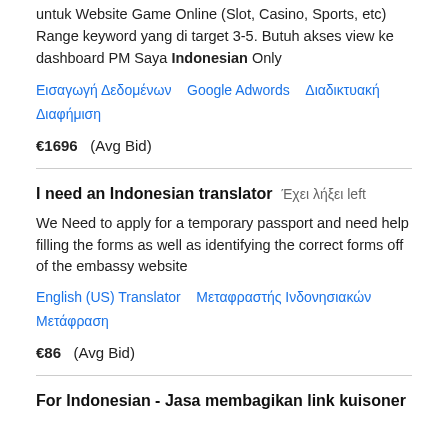untuk Website Game Online (Slot, Casino, Sports, etc) Range keyword yang di target 3-5. Butuh akses view ke dashboard PM Saya Indonesian Only
Εισαγωγή Δεδομένων   Google Adwords   Διαδικτυακή Διαφήμιση
€1696  (Avg Bid)
I need an Indonesian translator  Έχει λήξει left
We Need to apply for a temporary passport and need help filling the forms as well as identifying the correct forms off of the embassy website
English (US) Translator   Μεταφραστής Ινδονησιακών Μετάφραση
€86  (Avg Bid)
For Indonesian - Jasa membagikan link kuisoner